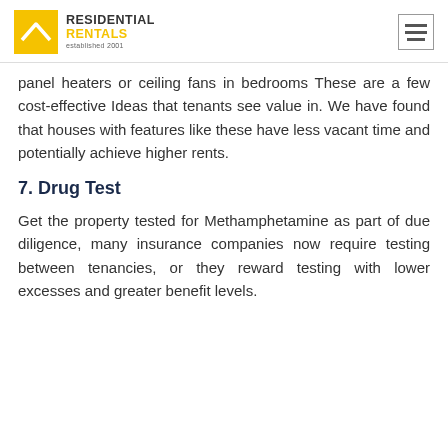RESIDENTIAL RENTALS established 2001
panel heaters or ceiling fans in bedrooms These are a few cost-effective Ideas that tenants see value in. We have found that houses with features like these have less vacant time and potentially achieve higher rents.
7. Drug Test
Get the property tested for Methamphetamine as part of due diligence, many insurance companies now require testing between tenancies, or they reward testing with lower excesses and greater benefit levels.